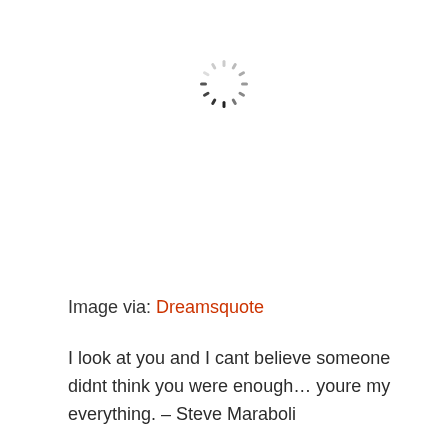[Figure (illustration): A loading spinner icon (circular progress indicator) with dark tick marks at the bottom and lighter marks around the top, centered near the top of the page.]
Image via: Dreamsquote
I look at you and I cant believe someone didnt think you were enough… youre my everything. – Steve Maraboli